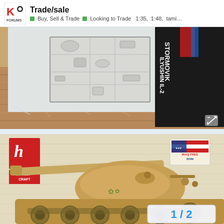Trade/sale — Buy, Sell & Trade ■ Looking to Trade  1:35, 1:48, tami…
[Figure (photo): Photo of a model kit sprue (plastic parts tree) in a clear plastic bag on a wooden surface, with a dark box labeled ILYUSHIN IL-2 STORMOVIK visible in the background]
[Figure (photo): Photo of a Hobby Craft model kit box showing a tan/desert-colored military tank (Iraqi Freedom era) on the box art, with a red-white-blue Hobby Craft logo and an Iraq Freedom sticker]